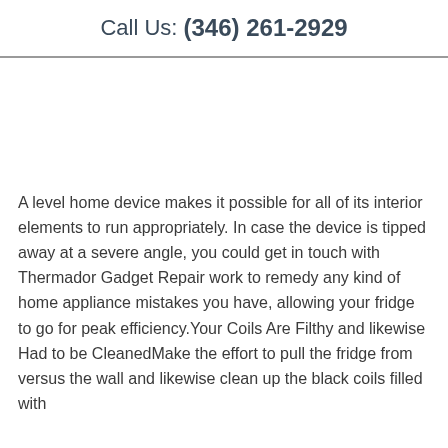[Figure (photo): Decorative banner image at the top of the page with warm and cool toned colors, partially visible]
Call Us: (346) 261-2929
A level home device makes it possible for all of its interior elements to run appropriately. In case the device is tipped away at a severe angle, you could get in touch with Thermador Gadget Repair work to remedy any kind of home appliance mistakes you have, allowing your fridge to go for peak efficiency.Your Coils Are Filthy and likewise Had to be CleanedMake the effort to pull the fridge from versus the wall and likewise clean up the black coils filled with